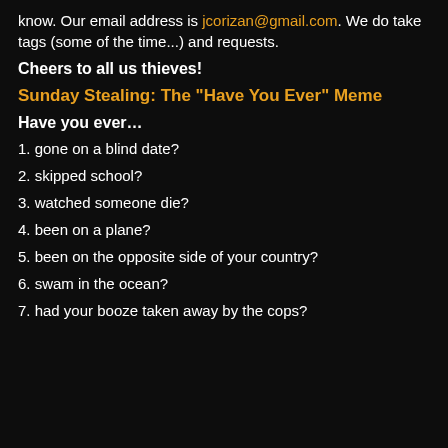know. Our email address is jcorizan@gmail.com. We do take tags (some of the time...) and requests.
Cheers to all us thieves!
Sunday Stealing: The "Have You Ever" Meme
Have you ever…
1. gone on a blind date?
2. skipped school?
3. watched someone die?
4. been on a plane?
5. been on the opposite side of your country?
6. swam in the ocean?
7. had your booze taken away by the cops?